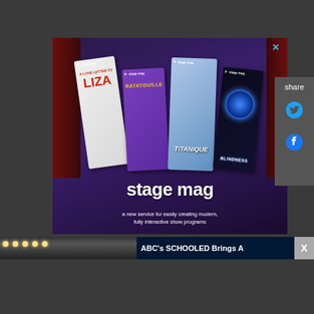[Figure (screenshot): Stage Mag advertisement showing theater show programs (A Love Letter to Liza, Ratatouille, Titanique, Blindness) with text 'stage mag' and tagline 'a new service for easily creating modern, fully interactive show programs'. A close button (X) appears top right. Share panel with Twitter and Facebook icons on the right.]
ABC's SCHOOLED Brings A